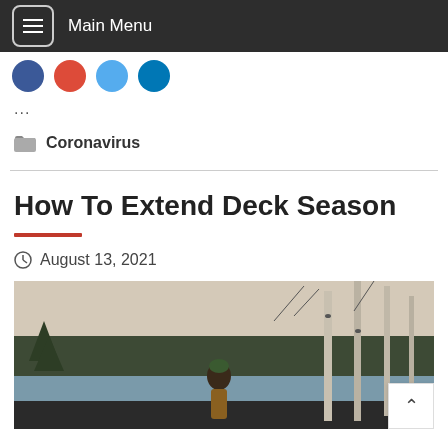Main Menu
[Figure (illustration): Social media icon circles: Facebook (blue), Google+ (red), Twitter (light blue), LinkedIn (dark blue)]
...
Coronavirus
How To Extend Deck Season
August 13, 2021
[Figure (photo): A person wearing a green beanie hat and brown coat standing outdoors in a winter scene with bare trees, evergreens, and a lake in the background.]